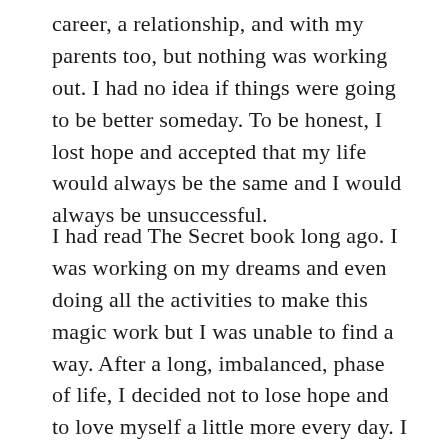career, a relationship, and with my parents too, but nothing was working out. I had no idea if things were going to be better someday. To be honest, I lost hope and accepted that my life would always be the same and I would always be unsuccessful.
I had read The Secret book long ago. I was working on my dreams and even doing all the activities to make this magic work but I was unable to find a way. After a long, imbalanced, phase of life, I decided not to lose hope and to love myself a little more every day. I stopped running behind things, whether it was a relationship or a career, or any family issue.